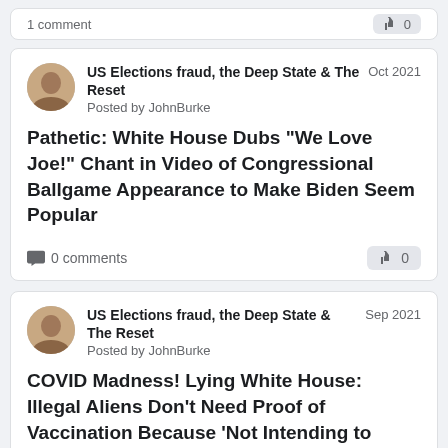1 comment | 0
US Elections fraud, the Deep State & The Reset | Oct 2021 | Posted by JohnBurke
Pathetic: White House Dubs "We Love Joe!" Chant in Video of Congressional Ballgame Appearance to Make Biden Seem Popular
0 comments | 0
US Elections fraud, the Deep State & The Reset | Sep 2021 | Posted by JohnBurke
COVID Madness! Lying White House: Illegal Aliens Don't Need Proof of Vaccination Because 'Not Intending to Stay' -